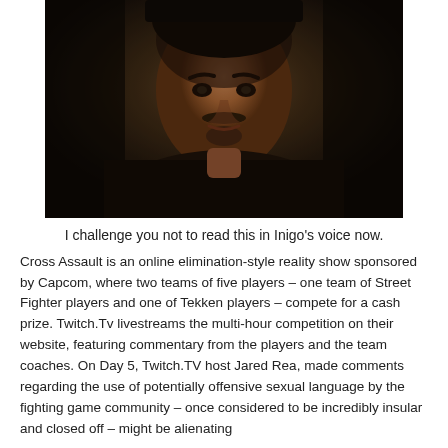[Figure (photo): Dark portrait photo of a man with a mustache and beard, wearing a dark jacket, looking slightly to the side. The background is dark and moody.]
I challenge you not to read this in Inigo's voice now.
Cross Assault is an online elimination-style reality show sponsored by Capcom, where two teams of five players – one team of Street Fighter players and one of Tekken players – compete for a cash prize. Twitch.Tv livestreams the multi-hour competition on their website, featuring commentary from the players and the team coaches. On Day 5, Twitch.TV host Jared Rea, made comments regarding the use of potentially offensive sexual language by the fighting game community – once considered to be incredibly insular and closed off – might be alienating